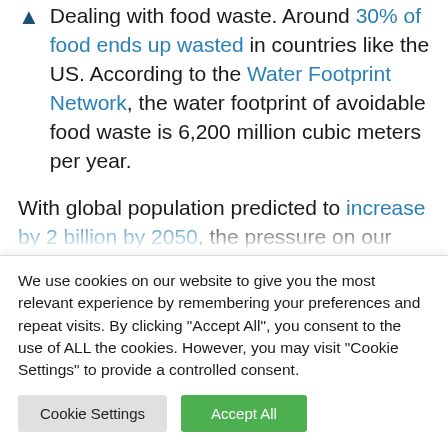Dealing with food waste. Around 30% of food ends up wasted in countries like the US. According to the Water Footprint Network, the water footprint of avoidable food waste is 6,200 million cubic meters per year.
With global population predicted to increase by 2 billion by 2050, the pressure on our water supply due to food demand will only increase unless we rethink how we use water in food and drink production.
We use cookies on our website to give you the most relevant experience by remembering your preferences and repeat visits. By clicking "Accept All", you consent to the use of ALL the cookies. However, you may visit "Cookie Settings" to provide a controlled consent.